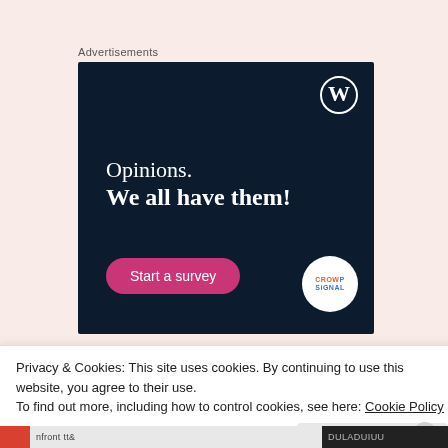Advertisements
[Figure (illustration): WordPress/Crowdsignal advertisement on dark navy background. Shows WordPress logo (W in circle) top right, text 'Opinions. We all have them!' in white serif font, a pink 'Start a survey' button bottom left, and Crowdsignal circular logo bottom right.]
Privacy & Cookies: This site uses cookies. By continuing to use this website, you agree to their use.
To find out more, including how to control cookies, see here: Cookie Policy
Close and accept